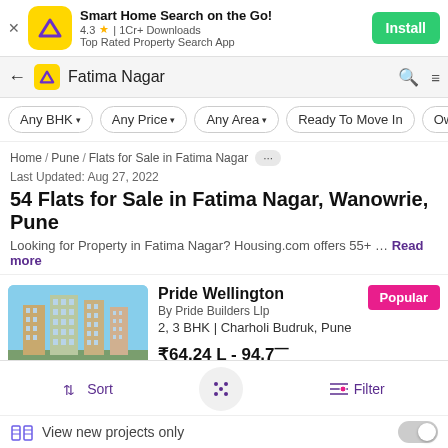[Figure (screenshot): App install ad banner for Housing.com property search app showing logo, rating 4.3, 1Cr+ Downloads, Top Rated Property Search App, and Install button]
Smart Home Search on the Go!
4.3 ★ | 1Cr+ Downloads
Top Rated Property Search App
Install
Fatima Nagar
Any BHK ▾
Any Price ▾
Any Area ▾
Ready To Move In
Owner
Home / Pune / Flats for Sale in Fatima Nagar ···
Last Updated: Aug 27, 2022
54 Flats for Sale in Fatima Nagar, Wanowrie, Pune
Looking for Property in Fatima Nagar? Housing.com offers 55+ … Read more
Pride Wellington
By Pride Builders Llp
2, 3 BHK | Charholi Budruk, Pune
₹64.24 L - 94.7
Popular
Interested →
Sort
Filter
View new projects only